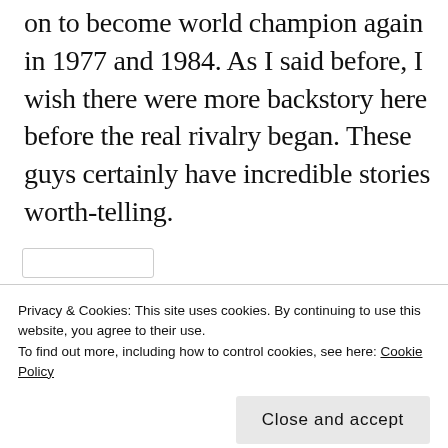on to become world champion again in 1977 and 1984. As I said before, I wish there were more backstory here before the real rivalry began. These guys certainly have incredible stories worth-telling.
Advertisements
[Figure (logo): Automattic logo with tagline: Build a better web and a better world.]
REPORT THIS AD
Privacy & Cookies: This site uses cookies. By continuing to use this website, you agree to their use.
To find out more, including how to control cookies, see here: Cookie Policy
Close and accept